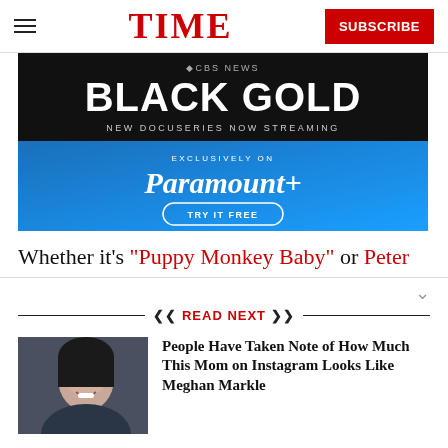TIME | SUBSCRIBE
[Figure (illustration): CBS News Black Gold advertisement banner - New Docuseries Now Streaming, Exclusively on Paramount+, Try It Free]
Whether it's “Puppy Monkey Baby” or Peter
READ NEXT
[Figure (photo): Thumbnail photo of a woman smiling, resembling Meghan Markle]
People Have Taken Note of How Much This Mom on Instagram Looks Like Meghan Markle